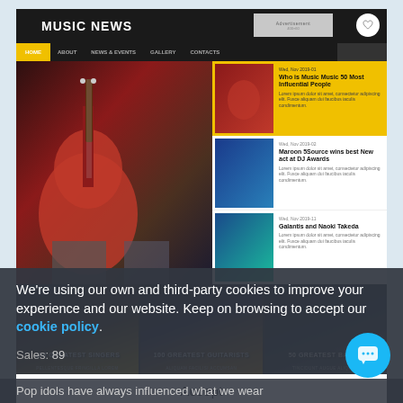[Figure (screenshot): Screenshot of a Music News WordPress theme website showing navigation, hero guitar image, article thumbnails, and a bottom banner strip with '100 Greatest Singers', '100 Greatest Guitarists', '50 Greatest Bands']
Music Fan Board WordPress Theme
We're using our own and third-party cookies to improve your experience and our website. Keep on browsing to accept our cookie policy.
Sales: 89
Accept
Pop idols have always influenced what we wear